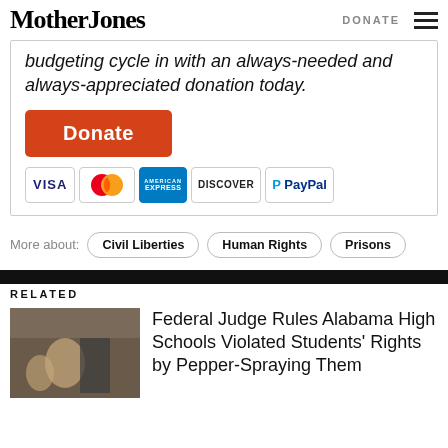Mother Jones | DONATE
budgeting cycle in with an always-needed and always-appreciated donation today.
[Figure (other): Orange Donate button with payment icons: VISA, Mastercard, American Express, Discover, PayPal]
More about: Civil Liberties  Human Rights  Prisons
RELATED
Federal Judge Rules Alabama High Schools Violated Students' Rights by Pepper-Spraying Them